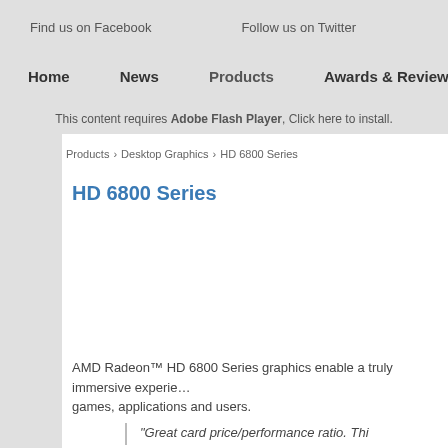Find us on Facebook    Follow us on Twitter
Home   News   Products   Awards & Reviews
This content requires Adobe Flash Player, Click here to install.
Products   Desktop Graphics   HD 6800 Series
HD 6800 Series
AMD Radeon™ HD 6800 Series graphics enable a truly immersive experience for games, applications and users.
"Great card price/performance ratio. Thi